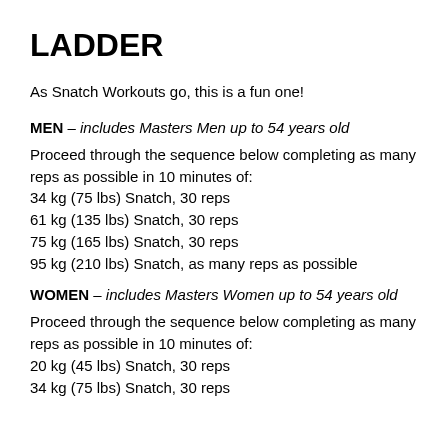LADDER
As Snatch Workouts go, this is a fun one!
MEN – includes Masters Men up to 54 years old
Proceed through the sequence below completing as many reps as possible in 10 minutes of:
34 kg (75 lbs) Snatch, 30 reps
61 kg (135 lbs) Snatch, 30 reps
75 kg (165 lbs) Snatch, 30 reps
95 kg (210 lbs) Snatch, as many reps as possible
WOMEN – includes Masters Women up to 54 years old
Proceed through the sequence below completing as many reps as possible in 10 minutes of:
20 kg (45 lbs) Snatch, 30 reps
34 kg (75 lbs) Snatch, 30 reps